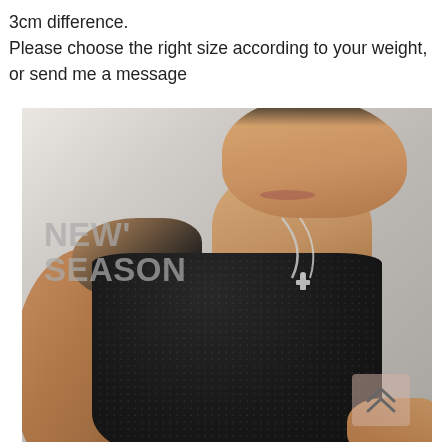3cm difference.
Please choose the right size according to your weight, or send me a message
[Figure (photo): A muscular male model wearing a black sleeveless mesh tank top with a silver cross necklace. The left side of the image has large grey text reading 'NEW' SEASON'. A scroll-up arrow icon appears in the bottom-right corner.]